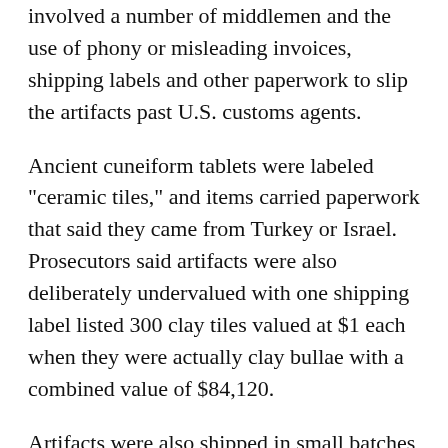involved a number of middlemen and the use of phony or misleading invoices, shipping labels and other paperwork to slip the artifacts past U.S. customs agents.
Ancient cuneiform tablets were labeled "ceramic tiles," and items carried paperwork that said they came from Turkey or Israel. Prosecutors said artifacts were also deliberately undervalued with one shipping label listed 300 clay tiles valued at $1 each when they were actually clay bullae with a combined value of $84,120.
Artifacts were also shipped in small batches to multiple addresses in Oklahoma City to avoid drawing the attention of customs agents, prosecutors said. A dealer based in the United Arab Emirates